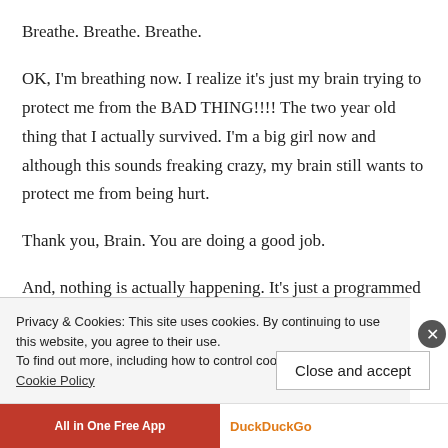Breathe. Breathe. Breathe.
OK, I'm breathing now. I realize it's just my brain trying to protect me from the BAD THING!!!! The two year old thing that I actually survived. I'm a big girl now and although this sounds freaking crazy, my brain still wants to protect me from being hurt.
Thank you, Brain. You are doing a good job.
And, nothing is actually happening. It's just a programmed way my brain reacts to certain triggers.
Privacy & Cookies: This site uses cookies. By continuing to use this website, you agree to their use.
To find out more, including how to control cookies, see here: Cookie Policy
Close and accept